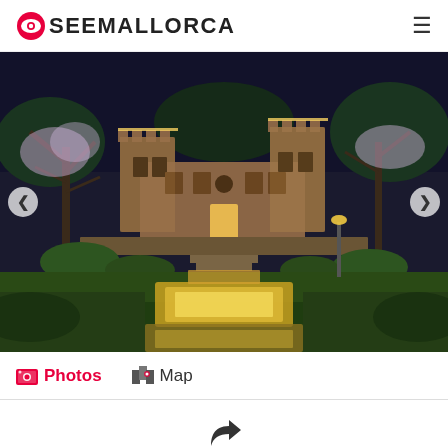SEEMALLORCA
[Figure (photo): Night photo of a stone manor house/castle in Mallorca with illuminated gardens, trees, and a reflecting pool/fountain leading up to the building entrance]
Photos   Map
Share